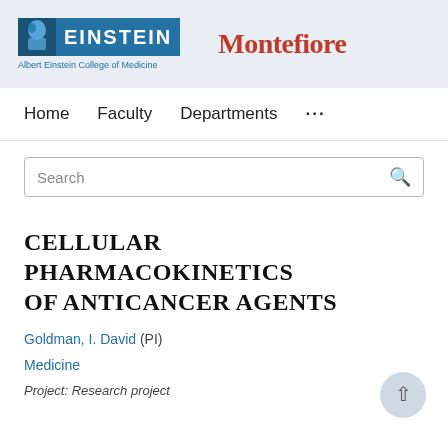[Figure (logo): Albert Einstein College of Medicine and Montefiore logos in header banner]
Home   Faculty   Departments   ...
Search
CELLULAR PHARMACOKINETICS OF ANTICANCER AGENTS
Goldman, I. David (PI)
Medicine
Project: Research project